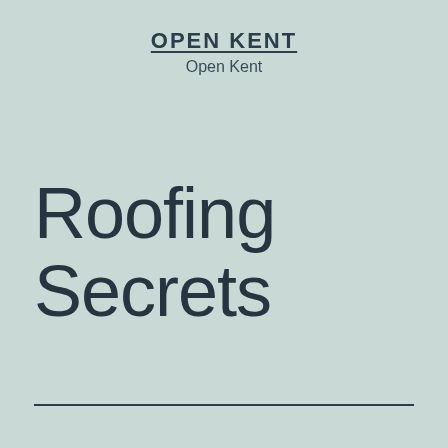OPEN KENT
Open Kent
Roofing Secrets